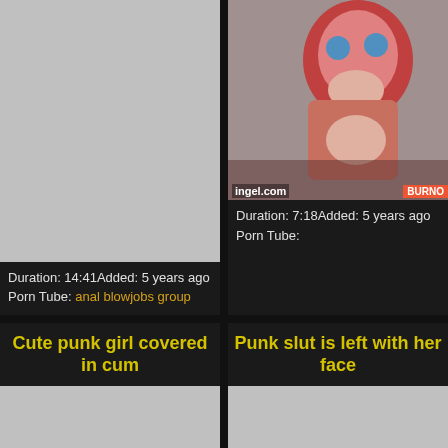[Figure (screenshot): Gray placeholder thumbnail for first video]
Duration: 14:41Added: 5 years ago
Porn Tube: anal blowjobs group
[Figure (photo): Photo of red-haired woman with ingel.com watermark and BURNO logo]
Duration: 7:18Added: 5 years ago
Porn Tube:
Cute punk girl covered in cum
Punk slut is left with her face
[Figure (screenshot): Gray placeholder thumbnail bottom-left]
[Figure (screenshot): Gray placeholder thumbnail bottom-right]